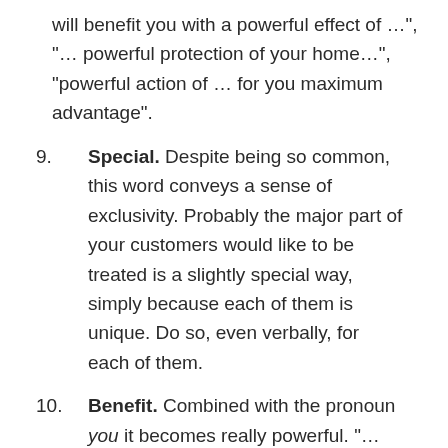will benefit you with a powerful effect of ...", "... powerful protection of your home...", "powerful action of ... for you maximum advantage".
9. Special. Despite being so common, this word conveys a sense of exclusivity. Probably the major part of your customers would like to be treated is a slightly special way, simply because each of them is unique. Do so, even verbally, for each of them.
10. Benefit. Combined with the pronoun you it becomes really powerful. "... you will reap these benefits using ..." is something making hard to resist to.